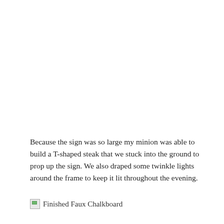Because the sign was so large my minion was able to build a T-shaped steak that we stuck into the ground to prop up the sign. We also draped some twinkle lights around the frame to keep it lit throughout the evening.
[Figure (photo): Broken image placeholder with label 'Finished Faux Chalkboard']